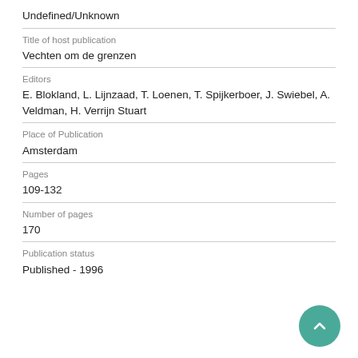Undefined/Unknown
Title of host publication
Vechten om de grenzen
Editors
E. Blokland, L. Lijnzaad, T. Loenen, T. Spijkerboer, J. Swiebel, A. Veldman, H. Verrijn Stuart
Place of Publication
Amsterdam
Pages
109-132
Number of pages
170
Publication status
Published - 1996